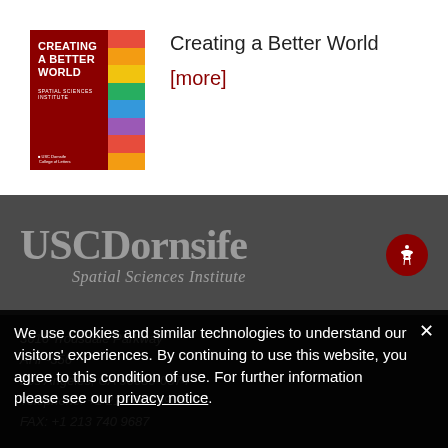[Figure (illustration): Book cover for 'Creating a Better World' by USC Spatial Sciences Institute. Dark red/crimson background on left with white bold text title, colorful vertical strips on right side.]
Creating a Better World
[more]
[Figure (logo): USC Dornsife Spatial Sciences Institute logo in muted gray-white on dark gray background, with accessibility icon button in red circle at right.]
We use cookies and similar technologies to understand our visitors' experiences. By continuing to use this website, you agree to this condition of use. For further information please see our privacy notice.